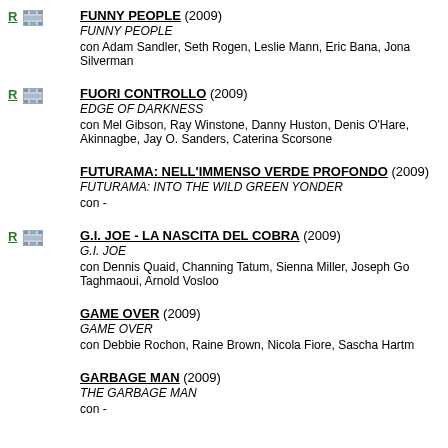FUNNY PEOPLE (2009) / FUNNY PEOPLE / con Adam Sandler, Seth Rogen, Leslie Mann, Eric Bana, Jona Silverman
FUORI CONTROLLO (2009) / EDGE OF DARKNESS / con Mel Gibson, Ray Winstone, Danny Huston, Denis O'Hare, Akinnagbe, Jay O. Sanders, Caterina Scorsone
FUTURAMA: NELL'IMMENSO VERDE PROFONDO (2009) / FUTURAMA: INTO THE WILD GREEN YONDER / con -
G.I. JOE - LA NASCITA DEL COBRA (2009) / G.I. JOE / con Dennis Quaid, Channing Tatum, Sienna Miller, Joseph Go Taghmaoui, Arnold Vosloo
GAME OVER (2009) / GAME OVER / con Debbie Rochon, Raine Brown, Nicola Fiore, Sascha Hartm
GARBAGE MAN (2009) / THE GARBAGE MAN / con -